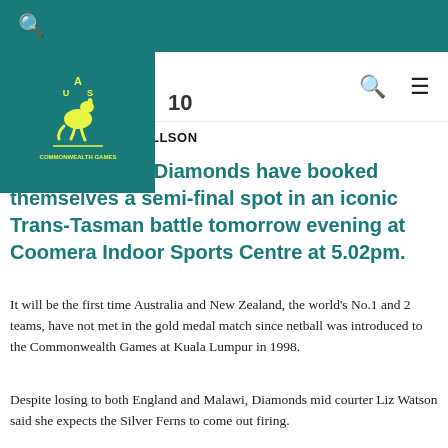[Figure (logo): Australia Commonwealth Games logo — kangaroo silhouette with 'AUS' text and 'COMMONWEALTH GAMES' text in yellow on teal background]
IMAGE|| MICHAEL WILLSON
The Australian Diamonds have booked themselves a semi-final spot in an iconic Trans-Tasman battle tomorrow evening at Coomera Indoor Sports Centre at 5.02pm.
It will be the first time Australia and New Zealand, the world's No.1 and 2 teams, have not met in the gold medal match since netball was introduced to the Commonwealth Games at Kuala Lumpur in 1998.
Despite losing to both England and Malawi, Diamonds mid courter Liz Watson said she expects the Silver Ferns to come out firing.